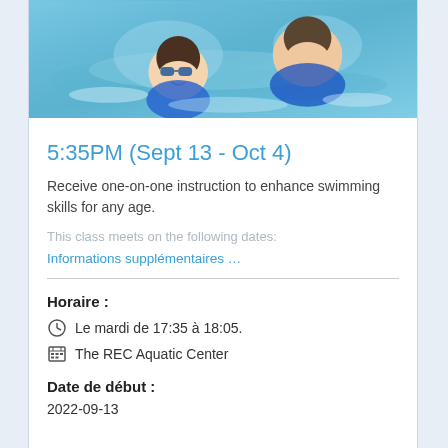[Figure (photo): Two children swimming in a pool, smiling and wearing goggles]
5:35PM (Sept 13 - Oct 4)
Receive one-on-one instruction to enhance swimming skills for any age.
This class meets on the following dates:
Informations supplémentaires …
Horaire :
Le mardi de 17:35 à 18:05.
The REC Aquatic Center
Date de début :
2022-09-13